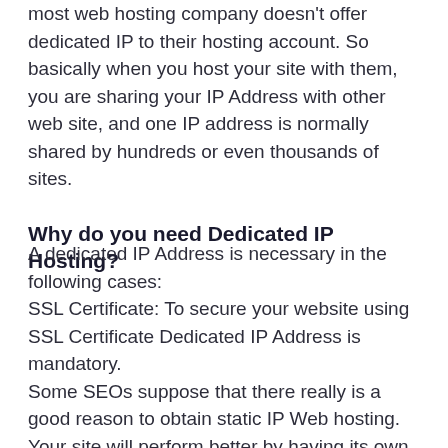most web hosting company doesn't offer dedicated IP to their hosting account. So basically when you host your site with them, you are sharing your IP Address with other web site, and one IP address is normally shared by hundreds or even thousands of sites.
Why do you need Dedicated IP Hosting?
A dedicated IP Address is necessary in the following cases:
SSL Certificate: To secure your website using SSL Certificate Dedicated IP Address is mandatory.
Some SEOs suppose that there really is a good reason to obtain static IP Web hosting. Your site will perform better by having its own static IP.
Large and/or busy sites usually don't prefer to share an IP addresses or server space.